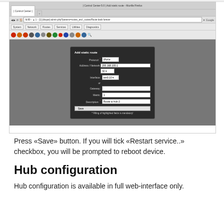[Figure (screenshot): Screenshot of a web browser (Mozilla Firefox) showing a Control Center interface with an 'Add static route' dialog box. The dialog contains fields for Protocol (IPv4), Address/Network (200.168.100.1 / 32), Interface (em0.10), Gateway, Metric (1), and Description (Route to hub 2), with a Save button and a note about mandatory fields.]
Press «Save» button. If you will tick «Restart service..» checkbox, you will be prompted to reboot device.
Hub configuration
Hub configuration is available in full web-interface only.